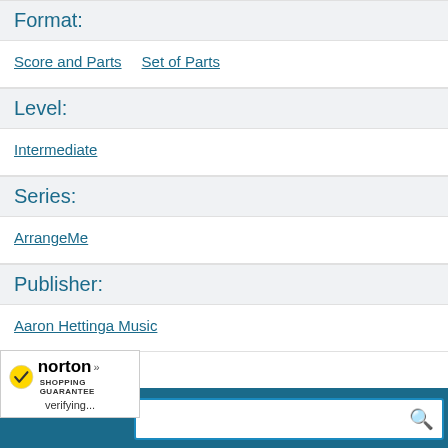Format:
Score and Parts
Set of Parts
Level:
Intermediate
Series:
ArrangeMe
Publisher:
Aaron Hettinga Music
[Figure (screenshot): Norton Shopping Guarantee badge with checkmark logo and 'verifying...' text, overlapping a search bar with a blue border and magnifying glass icon at the bottom of the page.]